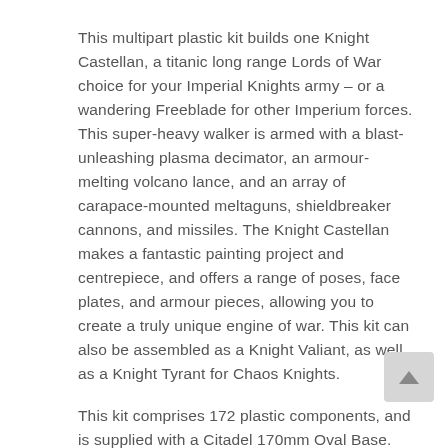This multipart plastic kit builds one Knight Castellan, a titanic long range Lords of War choice for your Imperial Knights army – or a wandering Freeblade for other Imperium forces. This super-heavy walker is armed with a blast-unleashing plasma decimator, an armour-melting volcano lance, and an array of carapace-mounted meltaguns, shieldbreaker cannons, and missiles. The Knight Castellan makes a fantastic painting project and centrepiece, and offers a range of poses, face plates, and armour pieces, allowing you to create a truly unique engine of war. This kit can also be assembled as a Knight Valiant, as well as a Knight Tyrant for Chaos Knights.
This kit comprises 172 plastic components, and is supplied with a Citadel 170mm Oval Base. Also included is a Dominus transfer sheet, featuring heraldry for Imperial Knights. This miniature is unpainted and requires asse – we recommend using Citadel Plastic Glue and Citad paints.